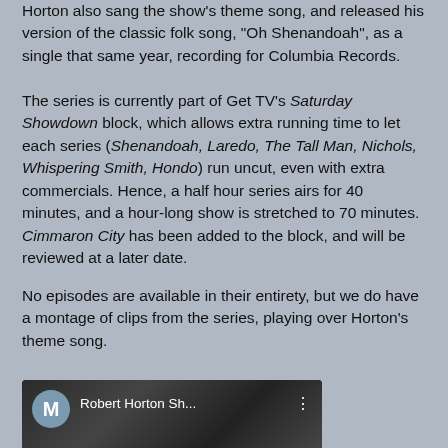Horton also sang the show's theme song, and released his version of the classic folk song, "Oh Shenandoah", as a single that same year, recording for Columbia Records.
The series is currently part of Get TV's Saturday Showdown block, which allows extra running time to let each series (Shenandoah, Laredo, The Tall Man, Nichols, Whispering Smith, Hondo) run uncut, even with extra commercials. Hence, a half hour series airs for 40 minutes, and a hour-long show is stretched to 70 minutes. Cimmaron City has been added to the block, and will be reviewed at a later date.
No episodes are available in their entirety, but we do have a montage of clips from the series, playing over Horton's theme song.
[Figure (screenshot): YouTube video thumbnail showing 'Robert Horton Sh...' with a grey M avatar icon, three-dot menu, and a red YouTube play button. The background shows a grayscale film scene.]